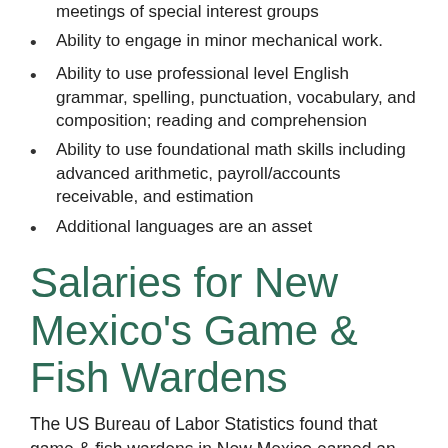meetings of special interest groups
Ability to engage in minor mechanical work.
Ability to use professional level English grammar, spelling, punctuation, vocabulary, and composition; reading and comprehension
Ability to use foundational math skills including advanced arithmetic, payroll/accounts receivable, and estimation
Additional languages are an asset
Salaries for New Mexico's Game & Fish Wardens
The US Bureau of Labor Statistics found that game & fish wardens in New Mexico earned an average salary of $42,990 ($20.67/hour) as of 2016.  Those with the